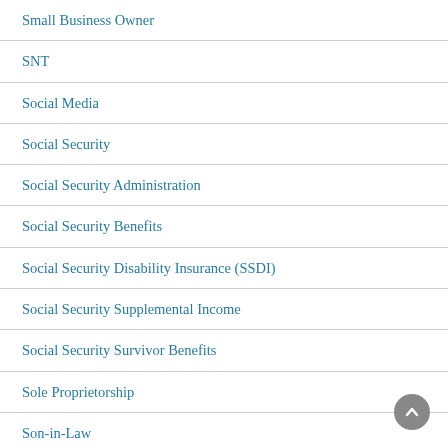Small Business Owner
SNT
Social Media
Social Security
Social Security Administration
Social Security Benefits
Social Security Disability Insurance (SSDI)
Social Security Supplemental Income
Social Security Survivor Benefits
Sole Proprietorship
Son-in-Law
Special Needs
Special Needs Child